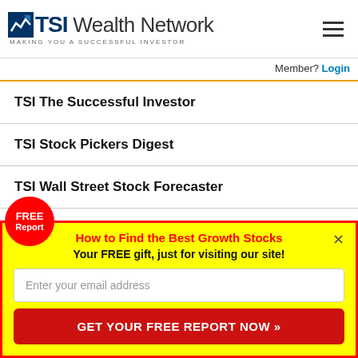TSI Wealth Network — MAKING YOU A SUCCESSFUL INVESTOR
Member? Login
TSI The Successful Investor
TSI Stock Pickers Digest
TSI Wall Street Stock Forecaster
TSI Canadian Wealth Advisor
FREE Report
How to Find the Best Growth Stocks
Your FREE gift, just for visiting our site!
Enter your email address
GET YOUR FREE REPORT NOW »